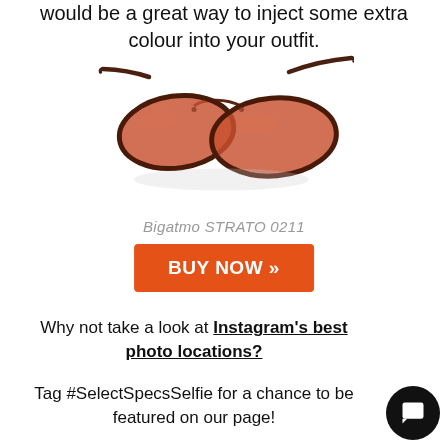would be a great way to inject some extra colour into your outfit.
[Figure (photo): Bigatmo STRATO 0211 sunglasses with orange/red lenses and dark metal frames, photographed at an angle on white background]
Bigatmo STRATO 0211
BUY NOW »
Why not take a look at Instagram's best photo locations?
Tag #SelectSpecsSelfie for a chance to be featured on our page!